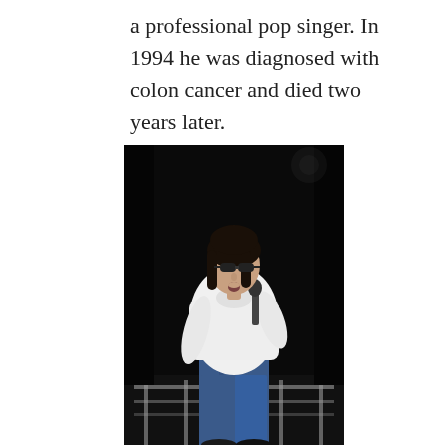a professional pop singer. In 1994 he was diagnosed with colon cancer and died two years later.
[Figure (photo): A woman with dark hair and sunglasses wearing a white hoodie and blue jeans, holding a microphone on a dark stage with metal railings in the background.]